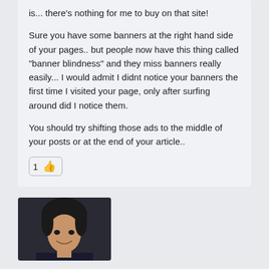is... there's nothing for me to buy on that site!
Sure you have some banners at the right hand side of your pages.. but people now have this thing called "banner blindness" and they miss banners really easily... I would admit I didnt notice your banners the first time I visited your page, only after surfing around did I notice them.
You should try shifting those ads to the middle of your posts or at the end of your article..
[Figure (other): Like button with thumbs up emoji showing count of 1]
[Figure (photo): Profile photo of a person with dark hair, smiling, in a dark jacket]